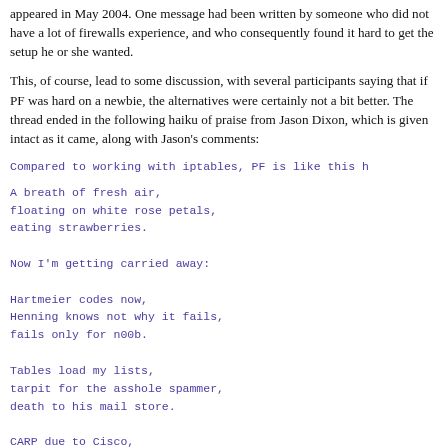appeared in May 2004. One message had been written by someone who did not have a lot of firewalls experience, and who consequently found it hard to get the setup he or she wanted.
This, of course, lead to some discussion, with several participants saying that if PF was hard on a newbie, the alternatives were certainly not a bit better. The thread ended in the following haiku of praise from Jason Dixon, which is given intact as it came, along with Jason's comments:
Compared to working with iptables, PF is like this h
A breath of fresh air,
floating on white rose petals,
eating strawberries.

Now I'm getting carried away:

Hartmeier codes now,
Henning knows not why it fails,
fails only for n00b.

Tables load my lists,
tarpit for the asshole spammer,
death to his mail store.

CARP due to Cisco,
redundant blessed packets,
licensed free for me.